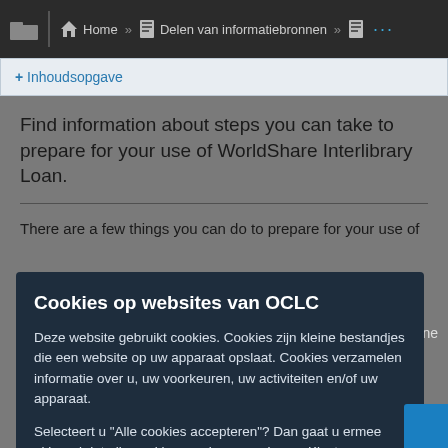Home » Delen van informatiebronnen » ...
+ Inhoudsopgave
Find information about steps you can take to prepare for your use of WorldShare Interlibrary Loan.
There are a few things you can do to prepare for your use of
Cookies op websites van OCLC
Deze website gebruikt cookies. Cookies zijn kleine bestandjes die een website op uw apparaat opslaat. Cookies verzamelen informatie over u, uw voorkeuren, uw activiteiten en/of uw apparaat.
Selecteert u "Alle cookies accepteren"? Dan gaat u ermee akkoord dat alle cookies worden opgeslagen. Kiest u "Onnodige cookies weigeren"? Dan worden alleen noodzakelijke cookies opgeslagen. Het kan zijn dat de website daarna minder goed aansluit bij uw